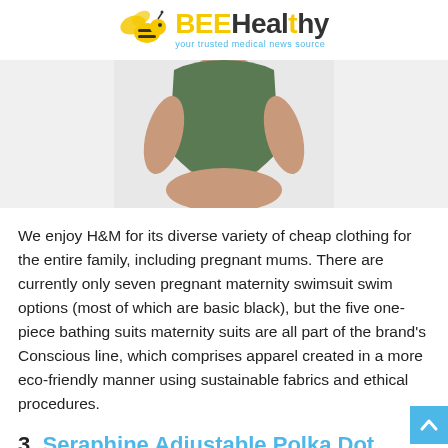BEEHealthy — your trusted medical news source
[Figure (photo): Torso of a pregnant woman wearing a dark olive green one-piece maternity swimsuit, cropped to show mid-section against a light grey background.]
We enjoy H&M for its diverse variety of cheap clothing for the entire family, including pregnant mums. There are currently only seven pregnant maternity swimsuit swim options (most of which are basic black), but the five one-piece bathing suits maternity suits are all part of the brand's Conscious line, which comprises apparel created in a more eco-friendly manner using sustainable fabrics and ethical procedures.
3. Seraphine Adjustable Polka Dot Maternity Bikini